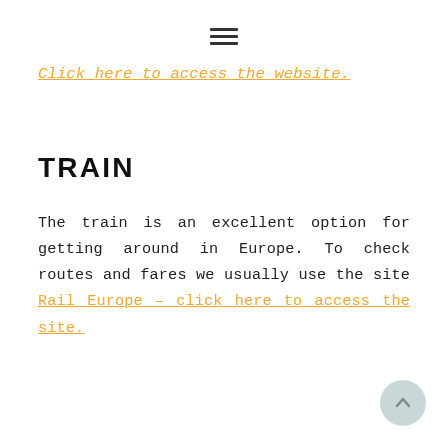≡
Click here to access the website.
TRAIN
The train is an excellent option for getting around in Europe. To check routes and fares we usually use the site Rail Europe – click here to access the site.